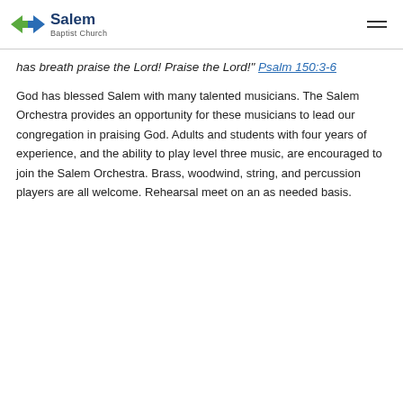Salem Baptist Church
has breath praise the Lord! Praise the Lord!" Psalm 150:3-6
God has blessed Salem with many talented musicians. The Salem Orchestra provides an opportunity for these musicians to lead our congregation in praising God. Adults and students with four years of experience, and the ability to play level three music, are encouraged to join the Salem Orchestra. Brass, woodwind, string, and percussion players are all welcome. Rehearsal meet on an as needed basis.